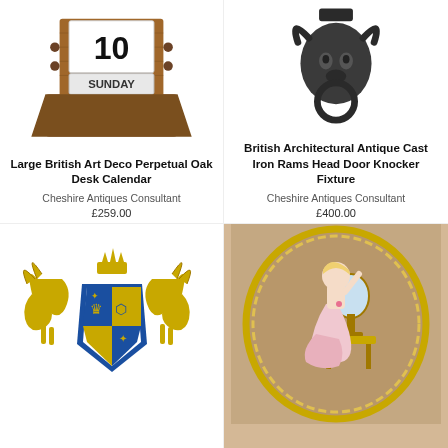[Figure (photo): Wooden Art Deco perpetual oak desk calendar with flip number showing '10' and 'SUNDAY']
Large British Art Deco Perpetual Oak Desk Calendar
Cheshire Antiques Consultant
£259.00
[Figure (photo): Cast iron rams head door knocker fixture with ring]
British Architectural Antique Cast Iron Rams Head Door Knocker Fixture
Cheshire Antiques Consultant
£400.00
[Figure (photo): Brass royal coat of arms heraldic plaque with two horses and shield]
[Figure (photo): Decorative wall plaque with porcelain figurine of a girl in a pink dress standing by a vanity mirror]